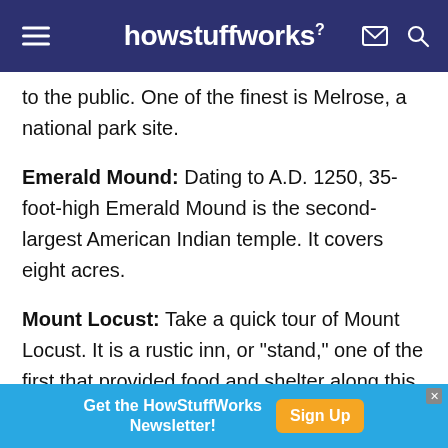howstuffworks
to the public. One of the finest is Melrose, a national park site.
Emerald Mound: Dating to A.D. 1250, 35-foot-high Emerald Mound is the second-largest American Indian temple. It covers eight acres.
Mount Locust: Take a quick tour of Mount Locust. It is a rustic inn, or "stand," one of the first that provided food and shelter along this trail.
Sunken Trace: Here are three sections of the
[Figure (other): Advertisement banner: Get the HowStuffWorks Newsletter! Sign Up button]